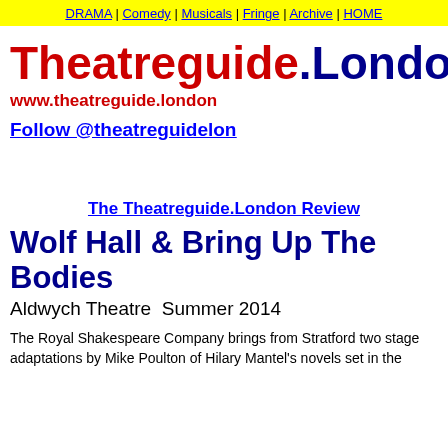DRAMA | Comedy | Musicals | Fringe | Archive | HOME
Theatreguide.London
www.theatreguide.london
Follow @theatreguidelon
The Theatreguide.London Review
Wolf Hall & Bring Up The Bodies
Aldwych Theatre  Summer 2014
The Royal Shakespeare Company brings from Stratford two stage adaptations by Mike Poulton of Hilary Mantel's novels set in the